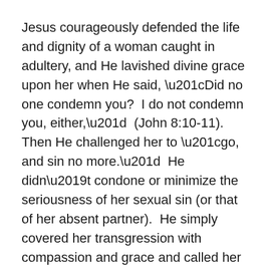Jesus courageously defended the life and dignity of a woman caught in adultery, and He lavished divine grace upon her when He said, “Did no one condemn you?  I do not condemn you, either,”  (John 8:10-11).  Then He challenged her to “go, and sin no more.”  He didn’t condone or minimize the seriousness of her sexual sin (or that of her absent partner).  He simply covered her transgression with compassion and grace and called her to greater purity and conformity to God’s will for her life.
Grace and truth.
How would Jesus bring that same truth and grace to moral, ethical, and social issues in our contemporary culture?
My reading of Scripture leads me to hold an extremely